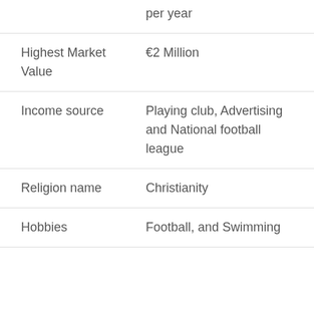| Field | Value |
| --- | --- |
|  | per year |
| Highest Market Value | €2 Million |
| Income source | Playing club, Advertising and National football league |
| Religion name | Christianity |
| Hobbies | Football, and Swimming |